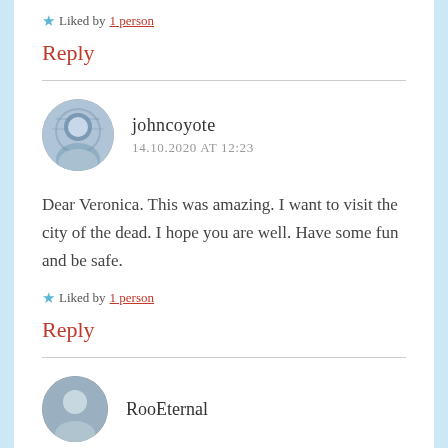★ Liked by 1 person
Reply
johncoyote
14.10.2020 AT 12:23
Dear Veronica. This was amazing. I want to visit the city of the dead. I hope you are well. Have some fun and be safe.
★ Liked by 1 person
Reply
RooEternal